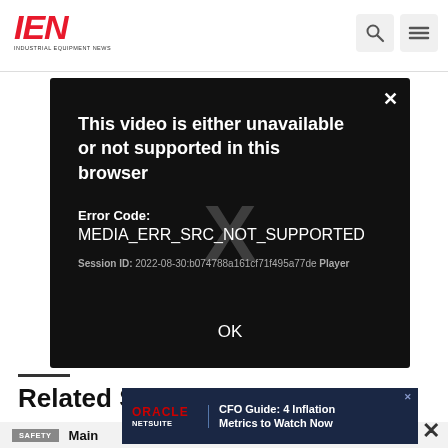IEN INDUSTRIAL EQUIPMENT NEWS
[Figure (screenshot): Video player error modal on dark background. Text reads: 'This video is either unavailable or not supported in this browser'. Error Code: MEDIA_ERR_SRC_NOT_SUPPORTED. Session ID: 2022-08-30:b074788a161cf71f495a77de Player. OK button at bottom. X close button top right. Faint watermark X in background.]
Related Stories
SAFETY
[Figure (screenshot): Oracle NetSuite advertisement banner: CFO Guide: 4 Inflation Metrics to Watch Now]
Main